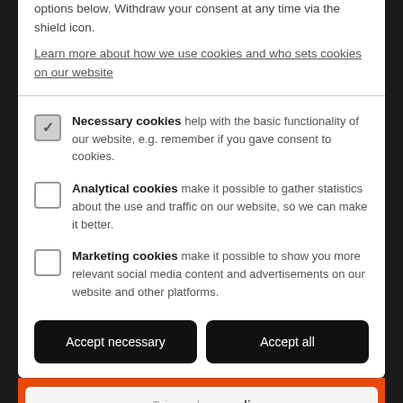options below. Withdraw your consent at any time via the shield icon.
Learn more about how we use cookies and who sets cookies on our website
Necessary cookies help with the basic functionality of our website, e.g. remember if you gave consent to cookies.
Analytical cookies make it possible to gather statistics about the use and traffic on our website, so we can make it better.
Marketing cookies make it possible to show you more relevant social media content and advertisements on our website and other platforms.
Accept necessary | Accept all
Privacy by openli